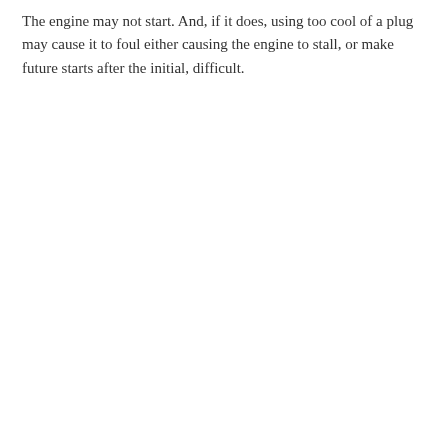The engine may not start. And, if it does, using too cool of a plug may cause it to foul either causing the engine to stall, or make future starts after the initial, difficult.